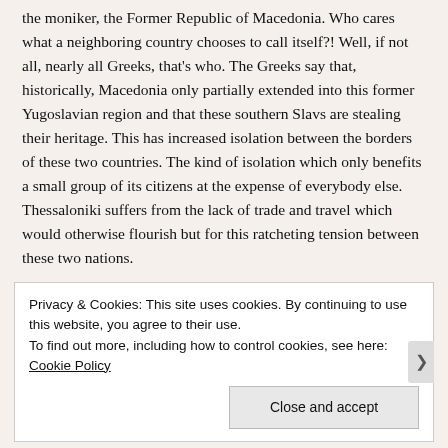the moniker, the Former Republic of Macedonia. Who cares what a neighboring country chooses to call itself?! Well, if not all, nearly all Greeks, that's who. The Greeks say that, historically, Macedonia only partially extended into this former Yugoslavian region and that these southern Slavs are stealing their heritage. This has increased isolation between the borders of these two countries. The kind of isolation which only benefits a small group of its citizens at the expense of everybody else. Thessaloniki suffers from the lack of trade and travel which would otherwise flourish but for this ratcheting tension between these two nations.
When I was in grade-school on the playground  there were
Privacy & Cookies: This site uses cookies. By continuing to use this website, you agree to their use.
To find out more, including how to control cookies, see here: Cookie Policy